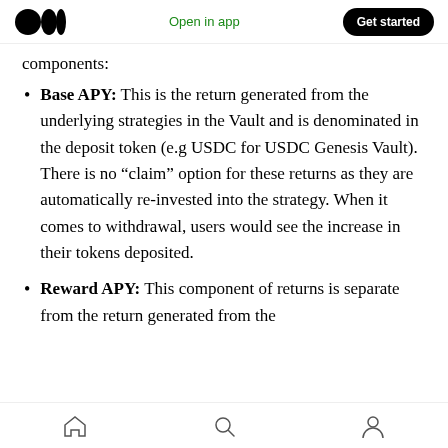Open in app | Get started
components:
Base APY: This is the return generated from the underlying strategies in the Vault and is denominated in the deposit token (e.g USDC for USDC Genesis Vault). There is no “claim” option for these returns as they are automatically re-invested into the strategy. When it comes to withdrawal, users would see the increase in their tokens deposited.
Reward APY: This component of returns is separate from the return generated from the